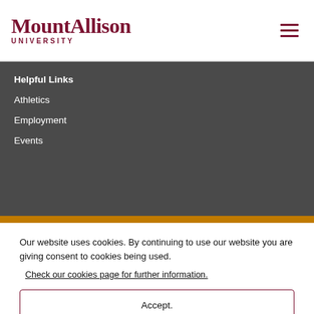MountAllison UNIVERSITY
Helpful Links
Athletics
Employment
Events
Our website uses cookies. By continuing to use our website you are giving consent to cookies being used.
Check our cookies page for further information.
Accept.